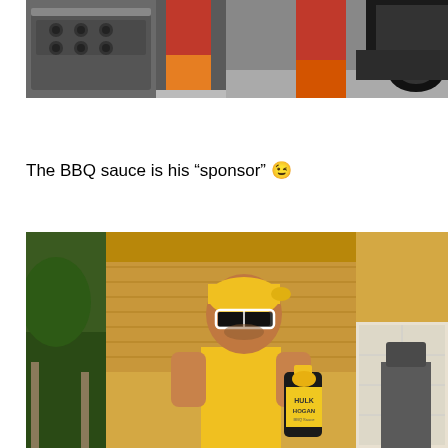[Figure (photo): Two-panel photo: left panel shows a BBQ grill with knobs and a person in red shorts with yellow/orange boots; right panel shows lower body of person in red outfit near a vehicle.]
The BBQ sauce is his “sponsor” 😉
[Figure (photo): Man dressed as Hulk Hogan wearing a yellow bandana, white sunglasses, and yellow sleeveless shirt, holding a bottle of Hulk Hogan BBQ Sauce, standing outside in front of a house garage.]